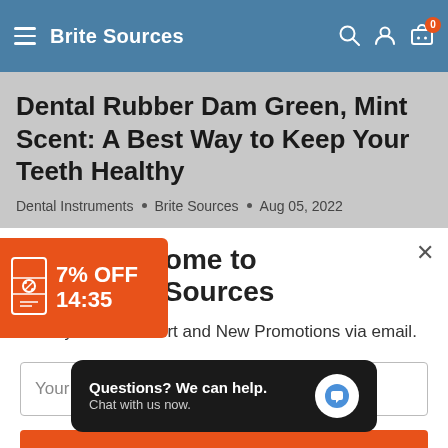Brite Sources
Dental Rubber Dam Green, Mint Scent: A Best Way to Keep Your Teeth Healthy
Dental Instruments • Brite Sources • Aug 05, 2022
[Figure (screenshot): Orange coupon badge showing 7% OFF with countdown timer 14:35]
Welcome to BriteSources
Send you Sales Alert and New Promotions via email.
Your email
[Figure (infographic): Chat widget with text: Questions? We can help. Chat with us now.]